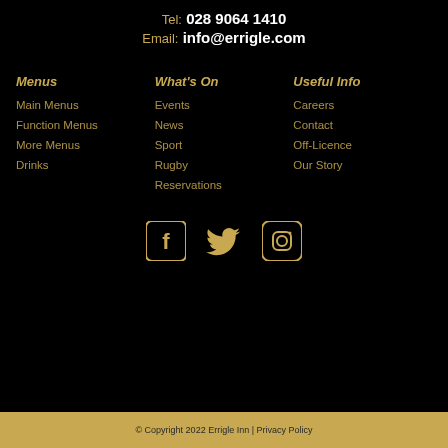Tel: 028 9064 1410
Email: info@errigle.com
Menus
Main Menus
Function Menus
More Menus
Drinks
What's On
Events
News
Sport
Rugby
Reservations
Useful Info
Careers
Contact
Off-Licence
Our Story
[Figure (other): Social media icons: Facebook, Twitter, Instagram in gold color on black background]
© Copyright 2022 Errigle Inn | Privacy Policy